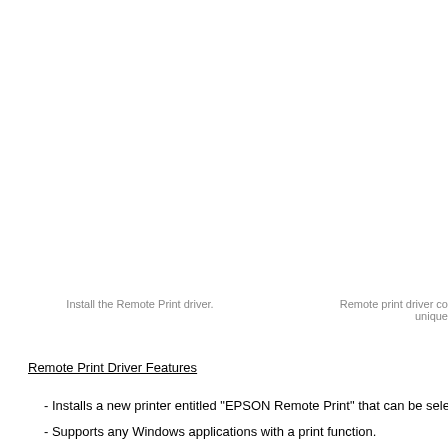Install the Remote Print driver.
Remote print driver co unique
Remote Print Driver Features
- Installs a new printer entitled "EPSON Remote Print" that can be selected w
- Supports any Windows applications with a print function.
- Supports Remote Printing function in Epson iPrint app.